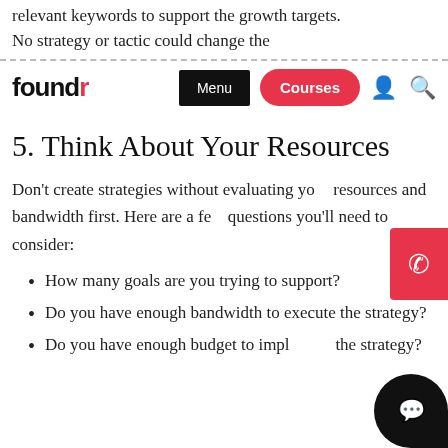relevant keywords to support the growth targets. No strategy or tactic could change the consumer search volume, regardless of the
foundr | Menu | Courses
5. Think About Your Resources
Don't create strategies without evaluating your resources and bandwidth first. Here are a few questions you'll need to consider:
How many goals are you trying to support?
Do you have enough bandwidth to execute the strategy?
Do you have enough budget to implement the strategy?